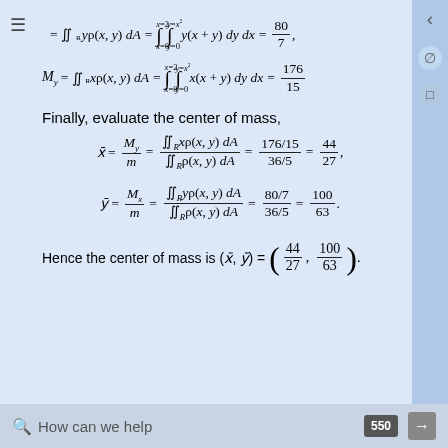Finally, evaluate the center of mass,